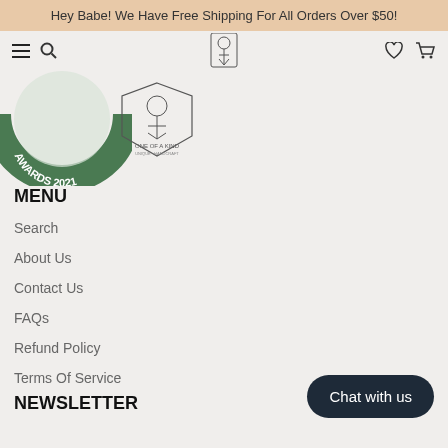Hey Babe! We Have Free Shipping For All Orders Over $50!
[Figure (logo): Navigation bar with hamburger menu, search icon, logo (One of a Kind floral design), heart and cart icons]
[Figure (illustration): Green circular awards badge reading AWARDS 2021 with One Of A Kind logo overlapping]
MENU
Search
About Us
Contact Us
FAQs
Refund Policy
Terms Of Service
NEWSLETTER
Chat with us